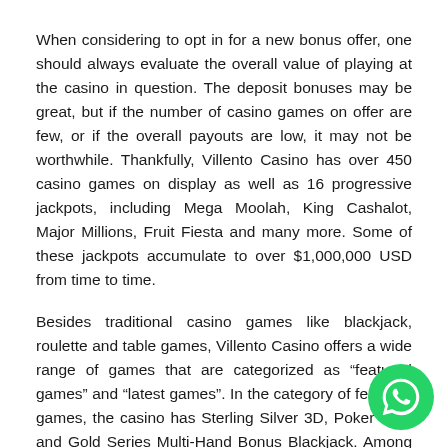When considering to opt in for a new bonus offer, one should always evaluate the overall value of playing at the casino in question. The deposit bonuses may be great, but if the number of casino games on offer are few, or if the overall payouts are low, it may not be worthwhile. Thankfully, Villento Casino has over 450 casino games on display as well as 16 progressive jackpots, including Mega Moolah, King Cashalot, Major Millions, Fruit Fiesta and many more. Some of these jackpots accumulate to over $1,000,000 USD from time to time.
Besides traditional casino games like blackjack, roulette and table games, Villento Casino offers a wide range of games that are categorized as “featured games” and “latest games”. In the category of featured games, the casino has Sterling Silver 3D, Poker Ride and Gold Series Multi-Hand Bonus Blackjack. Among the games that belong to the category of “latest games” you will find Riviera
[Figure (other): WhatsApp contact button (green circle with WhatsApp logo) overlaid in the bottom-right corner of the page.]